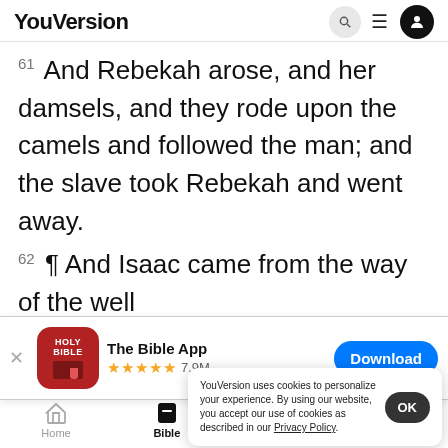YouVersion
61 And Rebekah arose, and her damsels, and they rode upon the camels and followed the man; and the slave took Rebekah and went away.
62 ¶ And Isaac came from the way of the well
ening hour: and he lifted up his eyes a
saw, an
64 An
[Figure (screenshot): App download banner for 'The Bible App' showing app icon (red Holy Bible icon), 5 star rating with 7.9M reviews, and a blue Download button]
YouVersion uses cookies to personalize your experience. By using our website, you accept our use of cookies as described in our Privacy Policy.
Home  Bible  Plans  Videos